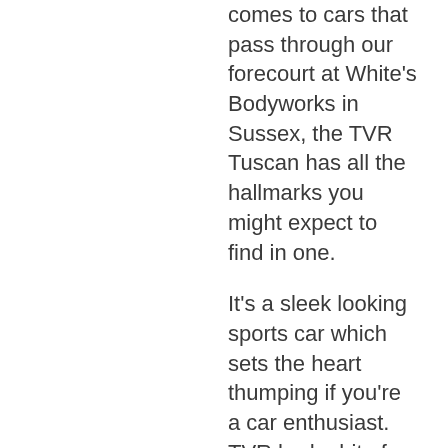comes to cars that pass through our forecourt at White's Bodyworks in Sussex, the TVR Tuscan has all the hallmarks you might expect to find in one.
It's a sleek looking sports car which sets the heart thumping if you're a car enthusiast. TVR had a bit of a chequered history when it came to sports car but they certainly knew how to create a good looking design.
TVR Tuscans were produced between 1999 and 2006 and there were a host of different engine options available. This one came to our garage a little while ago and was in need of a chassis restoration and repair, something our team